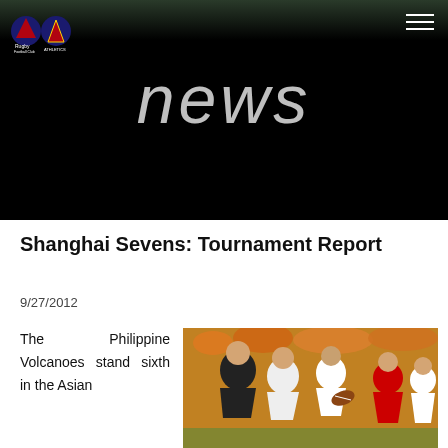Rugby Football Club / Association logo
news
Shanghai Sevens: Tournament Report
9/27/2012
The Philippine Volcanoes stand sixth in the Asian
[Figure (photo): Rugby players competing in a match, players wearing black/yellow and white/red uniforms, action shot with multiple players scrambling for the ball]